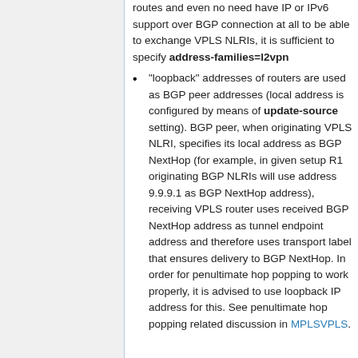routes and even no need have IP or IPv6 support over BGP connection at all to be able to exchange VPLS NLRIs, it is sufficient to specify address-families=l2vpn
"loopback" addresses of routers are used as BGP peer addresses (local address is configured by means of update-source setting). BGP peer, when originating VPLS NLRI, specifies its local address as BGP NextHop (for example, in given setup R1 originating BGP NLRIs will use address 9.9.9.1 as BGP NextHop address), receiving VPLS router uses received BGP NextHop address as tunnel endpoint address and therefore uses transport label that ensures delivery to BGP NextHop. In order for penultimate hop popping to work properly, it is advised to use loopback IP address for this. See penultimate hop popping related discussion in MPLSVPLS.